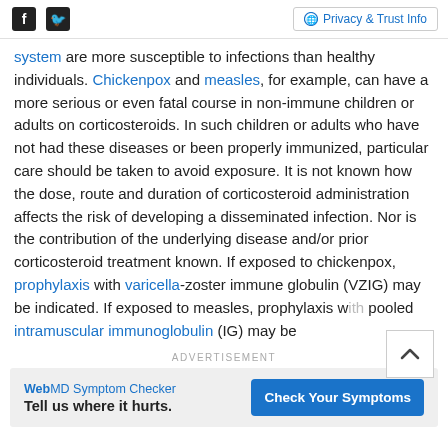Social icons (Facebook, Twitter) | Privacy & Trust Info
system are more susceptible to infections than healthy individuals. Chickenpox and measles, for example, can have a more serious or even fatal course in non-immune children or adults on corticosteroids. In such children or adults who have not had these diseases or been properly immunized, particular care should be taken to avoid exposure. It is not known how the dose, route and duration of corticosteroid administration affects the risk of developing a disseminated infection. Nor is the contribution of the underlying disease and/or prior corticosteroid treatment known. If exposed to chickenpox, prophylaxis with varicella-zoster immune globulin (VZIG) may be indicated. If exposed to measles, prophylaxis with pooled intramuscular immunoglobulin (IG) may be
ADVERTISEMENT
[Figure (other): WebMD Symptom Checker advertisement banner with text 'Tell us where it hurts.' and 'Check Your Symptoms' button]